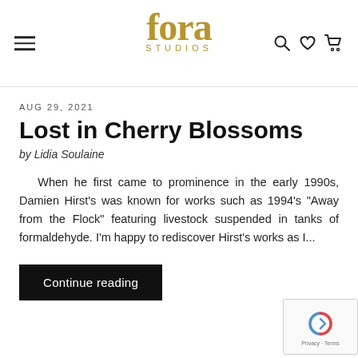fora STUDIOS
AUG 29, 2021
Lost in Cherry Blossoms
by Lidia Soulaine
When he first came to prominence in the early 1990s, Damien Hirst's was known for works such as 1994's "Away from the Flock" featuring livestock suspended in tanks of formaldehyde. I'm happy to rediscover Hirst's works as I...
Continue reading